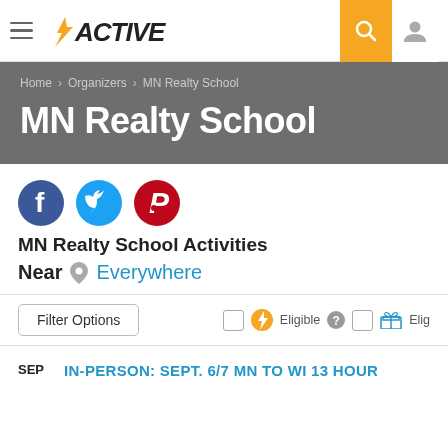ACTIVE (logo) — navigation bar with hamburger menu, search, and user icon
Home > Organizers > MN Realty School
MN Realty School
[Figure (illustration): Social sharing icons: Facebook (blue circle), Twitter (light blue circle), Pinterest (red circle)]
MN Realty School Activities
Near  Everywhere
Filter Options  [checkbox] Eligible [?] [checkbox] Elig...
SEP  IN-PERSON: SEPT. 6/7 MN TO WI 13 HOUR